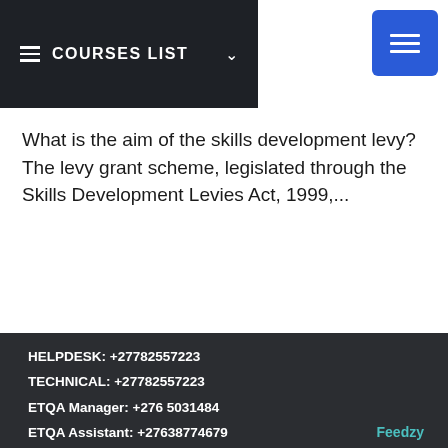COURSES LIST
What is the aim of the skills development levy? The levy grant scheme, legislated through the Skills Development Levies Act, 1999,...
HELPDESK: +27782557223
TECHNICAL: +27782557223
ETQA Manager: +276 5031484
ETQA Assistant: +27638774679
Feedzy